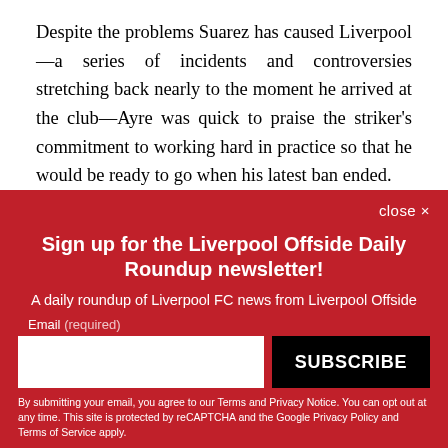Despite the problems Suarez has caused Liverpool—a series of incidents and controversies stretching back nearly to the moment he arrived at the club—Ayre was quick to praise the striker's commitment to working hard in practice so that he would be ready to go when his latest ban ended.
close ✕
Sign up for the Liverpool Offside Daily Roundup newsletter!
A daily roundup of Liverpool FC news from Liverpool Offside
Email (required)
SUBSCRIBE
By submitting your email, you agree to our Terms and Privacy Notice. You can opt out at any time. This site is protected by reCAPTCHA and the Google Privacy Policy and Terms of Service apply.